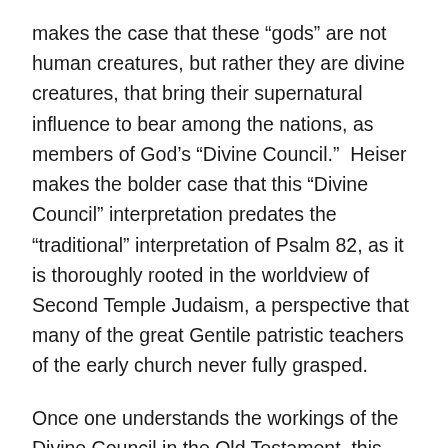makes the case that these “gods” are not human creatures, but rather they are divine creatures, that bring their supernatural influence to bear among the nations, as members of God’s “Divine Council.”  Heiser makes the bolder case that this “Divine Council” interpretation predates the “traditional” interpretation of Psalm 82, as it is thoroughly rooted in the worldview of Second Temple Judaism, a perspective that many of the great Gentile patristic teachers of the early church never fully grasped.
Once one understands the workings of the Divine Council in the Old Testament, this then unlocks a lot of the mystery behind dozens of passages in the New Testament, that typically confuse the vast majority of Christians. Heiser gives multiple examples of how a Divine Council framework of thinking helps to make more sense out of the New Testament.